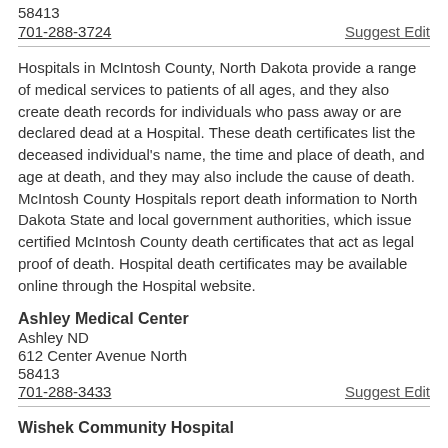58413
701-288-3724
Suggest Edit
Hospitals in McIntosh County, North Dakota provide a range of medical services to patients of all ages, and they also create death records for individuals who pass away or are declared dead at a Hospital. These death certificates list the deceased individual's name, the time and place of death, and age at death, and they may also include the cause of death. McIntosh County Hospitals report death information to North Dakota State and local government authorities, which issue certified McIntosh County death certificates that act as legal proof of death. Hospital death certificates may be available online through the Hospital website.
Ashley Medical Center
Ashley ND
612 Center Avenue North
58413
701-288-3433
Suggest Edit
Wishek Community Hospital